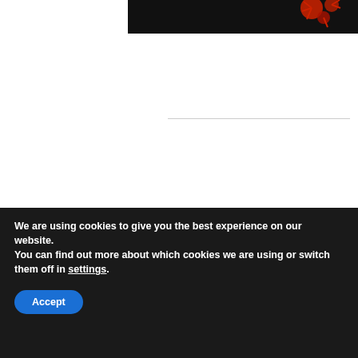[Figure (photo): Partial view of a dark background image with red coronavirus/molecular illustration in upper right corner]
[Figure (infographic): Advertisement banner with dark navy background and colorful geometric shapes. Text reads: September 27, 2022 EVIDENCE MATTERS #22]
We are using cookies to give you the best experience on our website.
You can find out more about which cookies we are using or switch them off in settings.
Accept